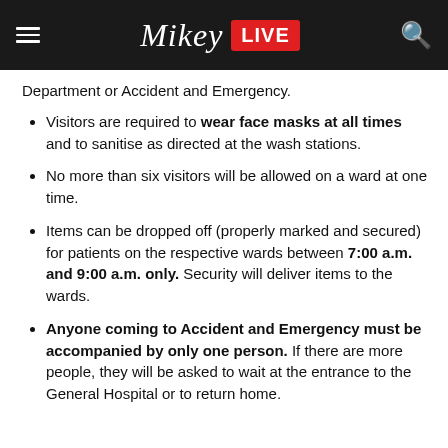Mikey LIVE
Department or Accident and Emergency.
Visitors are required to wear face masks at all times and to sanitise as directed at the wash stations.
No more than six visitors will be allowed on a ward at one time.
Items can be dropped off (properly marked and secured) for patients on the respective wards between 7:00 a.m. and 9:00 a.m. only. Security will deliver items to the wards.
Anyone coming to Accident and Emergency must be accompanied by only one person. If there are more people, they will be asked to wait at the entrance to the General Hospital or to return home.